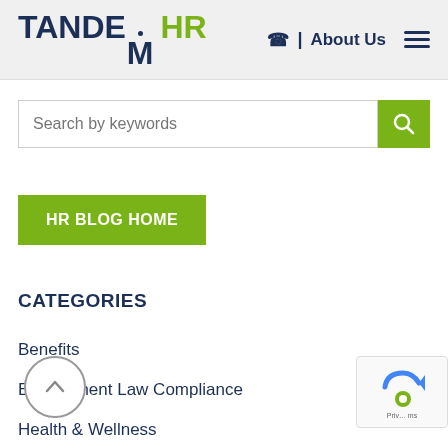TANDEM HR | About Us
[Figure (screenshot): Search bar with placeholder text 'Search by keywords' and green search button]
HR BLOG HOME
CATEGORIES
Benefits
Employment Law Compliance
Health & Wellness
HR Management
Human Resources